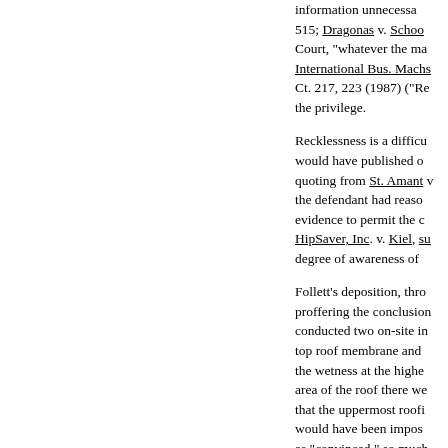information unnecessa... 515; Dragonas v. Schoo... Court, "whatever the ma... International Bus. Machs... Ct. 217, 223 (1987) ("Re... the privilege.
Recklessness is a difficu... would have published o... quoting from St. Amant v... the defendant had reaso... evidence to permit the c... HipSaver, Inc. v. Kiel, su... degree of awareness of...
Follett's deposition, thro... proffering the conclusion... conducted two on-site in... top roof membrane and... the wetness at the highe... area of the roof there we... that the uppermost roofi... would have been impos... as "convinced," so much...
Similarly, the facts led Ly... be adequate if it was no... the repair proposals ma... roofer, would be in a "be...
Doelp did, however, ack...